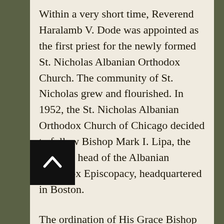Within a very short time, Reverend Haralamb V. Dode was appointed as the first priest for the newly formed St. Nicholas Albanian Orthodox Church. The community of St. Nicholas grew and flourished. In 1952, the St. Nicholas Albanian Orthodox Church of Chicago decided to follow Bishop Mark I. Lipa, the spiritual head of the Albanian Orthodox Episcopacy, headquartered in Boston.
The ordination of His Grace Bishop Mark I. Lipa to the Episcopate of the Orthodox Church on September 10, 1950, brought a new spirit of life and purpose to the Albanian-American religious community. In 1951, he initiated a weekly religious radio